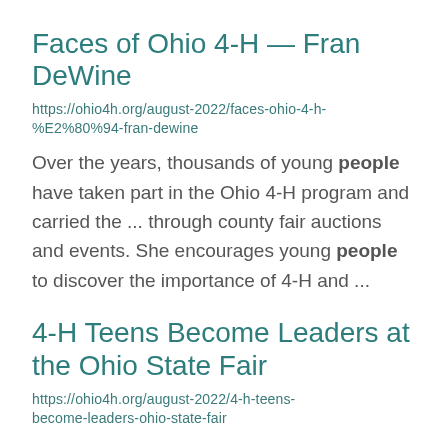Faces of Ohio 4-H — Fran DeWine
https://ohio4h.org/august-2022/faces-ohio-4-h-%E2%80%94-fran-dewine
Over the years, thousands of young people have taken part in the Ohio 4-H program and carried the ... through county fair auctions and events. She encourages young people to discover the importance of 4-H and ...
4-H Teens Become Leaders at the Ohio State Fair
https://ohio4h.org/august-2022/4-h-teens-become-leaders-ohio-state-fair